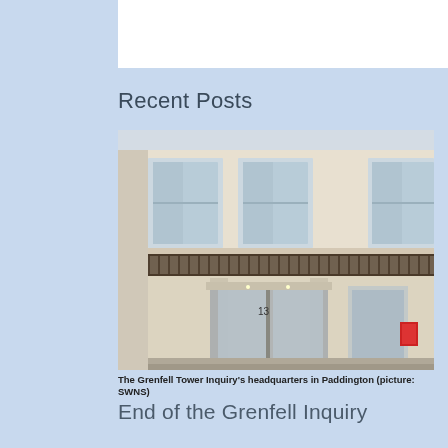Recent Posts
[Figure (photo): Exterior facade of a classical-style building with columns, iron balcony railings, tall windows, and a glazed entrance showing number 13. The Grenfell Tower Inquiry headquarters in Paddington.]
The Grenfell Tower Inquiry's headquarters in Paddington (picture: SWNS)
End of the Grenfell Inquiry